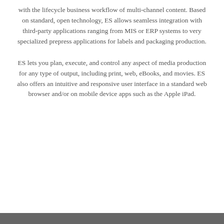with the lifecycle business workflow of multi-channel content. Based on standard, open technology, ES allows seamless integration with third-party applications ranging from MIS or ERP systems to very specialized prepress applications for labels and packaging production.
ES lets you plan, execute, and control any aspect of media production for any type of output, including print, web, eBooks, and movies. ES also offers an intuitive and responsive user interface in a standard web browser and/or on mobile device apps such as the Apple iPad.